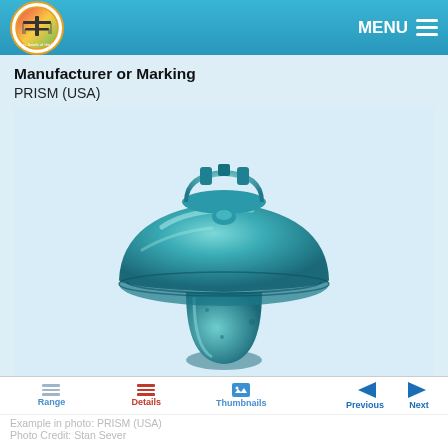MENU
Manufacturer or Marking
PRISM (USA)
[Figure (photo): A large aqua/teal colored glass insulator with a wide domed skirt and crown top, photographed on white background. PRISM (USA) manufacturer.]
Size: 190mm X 139mm (7 ½ x 5 ½)
Range | Details | Thumbnails | Previous | Next
Example in photo: PRISM (USA)
Photo Credit: Stan Sever